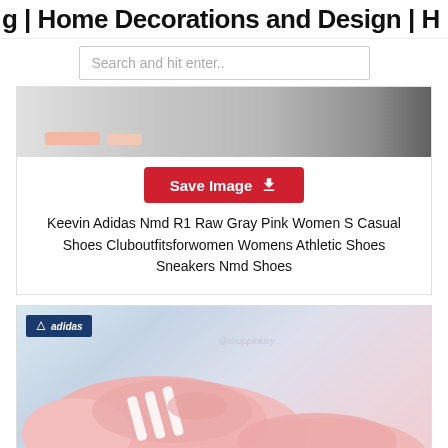g | Home Decorations and Design | H
[Figure (screenshot): Search bar with placeholder text 'Search and hit enter..']
[Figure (photo): Partial view of gray and pink Adidas NMD R1 sneakers against white background]
Save Image
Keevin Adidas Nmd R1 Raw Gray Pink Women S Casual Shoes Cluboutfitsforwomen Womens Athletic Shoes Sneakers Nmd Shoes
[Figure (photo): Pink Adidas sneakers with crystal/rhinestone three stripes detail, shown with Adidas box, @shoppinkivy watermark visible]